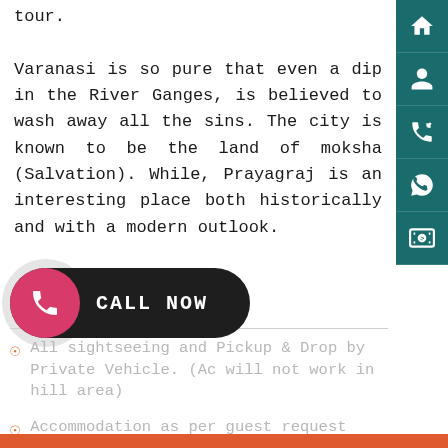tour.
Varanasi is so pure that even a dip in the River Ganges, is believed to wash away all the sins. The city is known to be the land of moksha (Salvation). While, Prayagraj is an interesting place both historically and with a modern outlook.
[Figure (other): CALL NOW button with pink circle containing phone icon on dark rounded rectangle background, with grey circle shadow behind]
All sightseeing and Pickup & Drop by Private Vehicle. (Ac will not work in hill area)
Accommodation as per guest request
Meals as per guest request
[Figure (other): Right sidebar with 5 teal icon buttons: home, person, phone, WhatsApp, dollar/money]